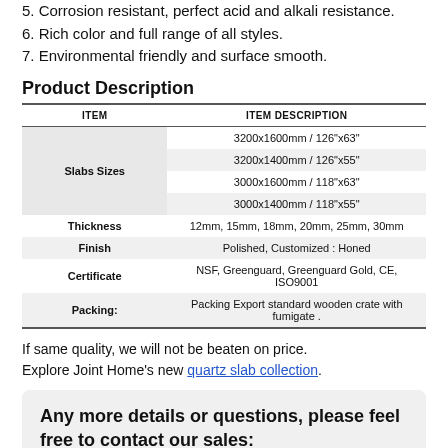5. Corrosion resistant, perfect acid and alkali resistance.
6. Rich color and full range of all styles.
7. Environmental friendly and surface smooth.
Product Description
| ITEM | ITEM DESCRIPTION |
| --- | --- |
| Slabs Sizes | 3200x1600mm / 126"x63" |
| Slabs Sizes | 3200x1400mm / 126"x55" |
| Slabs Sizes | 3000x1600mm / 118"x63" |
| Slabs Sizes | 3000x1400mm / 118"x55" |
| Thickness | 12mm, 15mm, 18mm, 20mm, 25mm, 30mm |
| Finish | Polished, Customized : Honed |
| Certificate | NSF, Greenguard, Greenguard Gold, CE, ISO9001 |
| Packing: | Packing Export standard wooden crate with fumigate . |
If same quality, we will not be beaten on price. Explore Joint Home's new quartz slab collection.
Any more details or questions, please feel free to contact our sales: